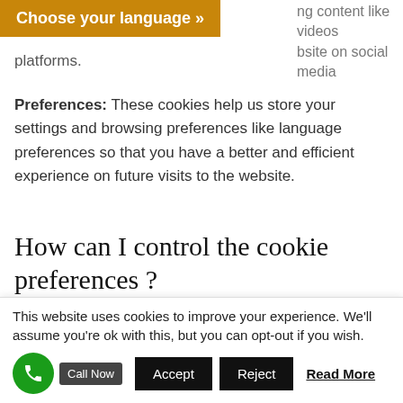[Figure (other): Golden/amber colored button bar with text 'Choose your language »']
ng content like videos bsite on social media platforms.
Preferences: These cookies help us store your settings and browsing preferences like language preferences so that you have a better and efficient experience on future visits to the website.
How can I control the cookie preferences ?
Should you decide to change your preferences later through your browsing session, you can click on the "Privacy & Cookie Policy" tab on your screen. This will display the consent notice again enabling you to
This website uses cookies to improve your experience. We'll assume you're ok with this, but you can opt-out if you wish.
Accept | Reject | Read More